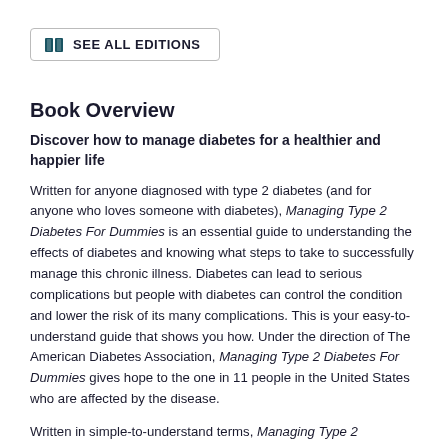[Figure (other): Button with book icon labeled SEE ALL EDITIONS]
Book Overview
Discover how to manage diabetes for a healthier and happier life
Written for anyone diagnosed with type 2 diabetes (and for anyone who loves someone with diabetes), Managing Type 2 Diabetes For Dummies is an essential guide to understanding the effects of diabetes and knowing what steps to take to successfully manage this chronic illness. Diabetes can lead to serious complications but people with diabetes can control the condition and lower the risk of its many complications. This is your easy-to-understand guide that shows you how. Under the direction of The American Diabetes Association, Managing Type 2 Diabetes For Dummies gives hope to the one in 11 people in the United States who are affected by the disease.
Written in simple-to-understand terms, Managing Type 2